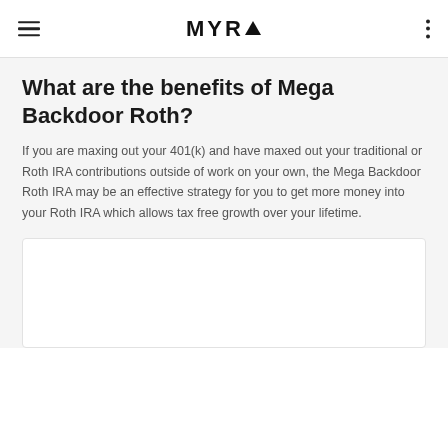MYRA
What are the benefits of Mega Backdoor Roth?
If you are maxing out your 401(k) and have maxed out your traditional or Roth IRA contributions outside of work on your own, the Mega Backdoor Roth IRA may be an effective strategy for you to get more money into your Roth IRA which allows tax free growth over your lifetime.
[Figure (other): White card placeholder at bottom of page, partially visible]